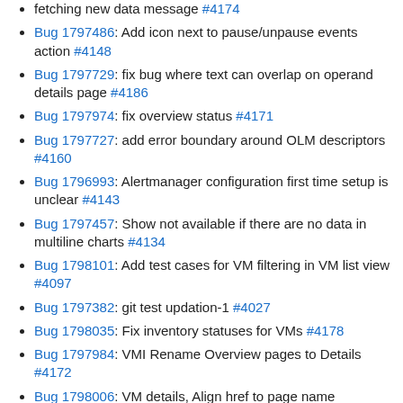fetching new data message #4174
Bug 1797486: Add icon next to pause/unpause events action #4148
Bug 1797729: fix bug where text can overlap on operand details page #4186
Bug 1797974: fix overview status #4171
Bug 1797727: add error boundary around OLM descriptors #4160
Bug 1796993: Alertmanager configuration first time setup is unclear #4143
Bug 1797457: Show not available if there are no data in multiline charts #4134
Bug 1798101: Add test cases for VM filtering in VM list view #4097
Bug 1797382: git test updation-1 #4027
Bug 1798035: Fix inventory statuses for VMs #4178
Bug 1797984: VMI Rename Overview pages to Details #4172
Bug 1798006: VM details, Align href to page name